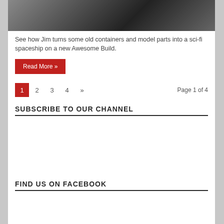[Figure (photo): Partial photo showing what appears to be a sci-fi spaceship model build with metallic parts and workshop setting]
See how Jim turns some old containers and model parts into a sci-fi spaceship on a new Awesome Build.
Read More »
1  2  3  4  »   Page 1 of 4
SUBSCRIBE TO OUR CHANNEL
FIND US ON FACEBOOK